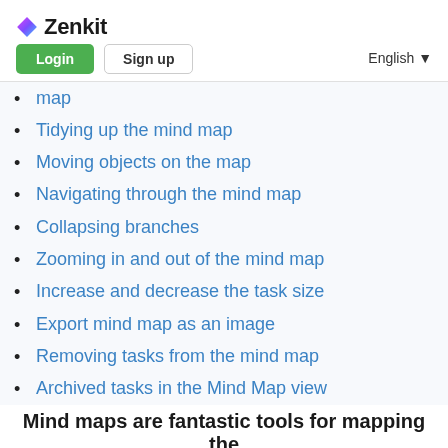Zenkit — Login | Sign up | English
map
Tidying up the mind map
Moving objects on the map
Navigating through the mind map
Collapsing branches
Zooming in and out of the mind map
Increase and decrease the task size
Export mind map as an image
Removing tasks from the mind map
Archived tasks in the Mind Map view
Mind maps are fantastic tools for mapping the